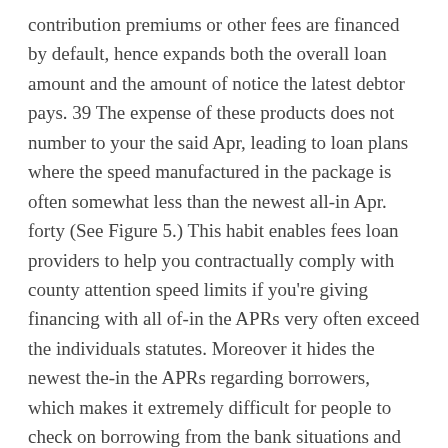contribution premiums or other fees are financed by default, hence expands both the overall loan amount and the amount of notice the latest debtor pays. 39 The expense of these products does not number to your the said Apr, leading to loan plans where the speed manufactured in the package is often somewhat less than the newest all-in Apr. forty (See Figure 5.) This habit enables fees loan providers to help you contractually comply with county attention speed limits if you're giving financing with all of-in the APRs very often exceed the individuals statutes. Moreover it hides the newest the-in the APRs regarding borrowers, which makes it extremely difficult for people to check on borrowing from the bank situations and compare will cost you.
One of several consumers about notice groups, who was familiar with the essential difference between said and all of-in the APRs, explained, "Discover a